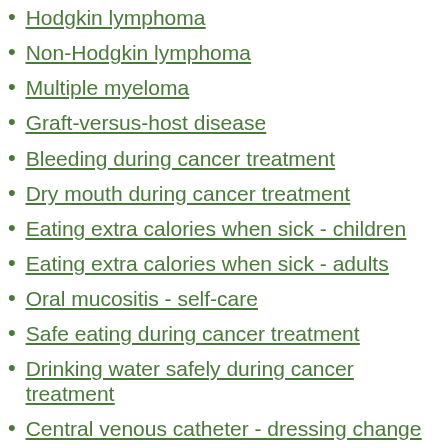Hodgkin lymphoma
Non-Hodgkin lymphoma
Multiple myeloma
Graft-versus-host disease
Bleeding during cancer treatment
Dry mouth during cancer treatment
Eating extra calories when sick - children
Eating extra calories when sick - adults
Oral mucositis - self-care
Safe eating during cancer treatment
Drinking water safely during cancer treatment
Central venous catheter - dressing change
Central venous catheter - flushing
Peripherally inserted central catheter - flushing